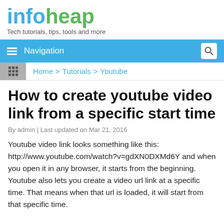infoheap
Tech tutorials, tips, tools and more
Navigation
Home > Tutorials > Youtube
How to create youtube video link from a specific start time
By admin | Last updated on Mar 21, 2016
Youtube video link looks something like this: http://www.youtube.com/watch?v=gdXN0DXMd6Y and when you open it in any browser, it starts from the beginning. Youtube also lets you create a video url link at a specific time. That means when that url is loaded, it will start from that specific time.